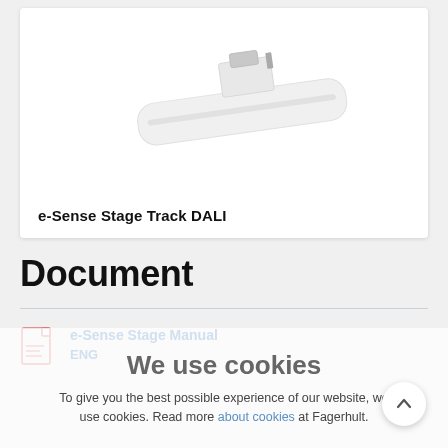[Figure (photo): White elongated track lighting fixture with mounting bracket, shown on white background inside a product card]
e-Sense Stage Track DALI
Document
[Figure (illustration): PDF document icon (red outline)]
e-Sense Stage Manual
ENG
We use cookies
To give you the best possible experience of our website, we use cookies. Read more about cookies at Fagerhult.